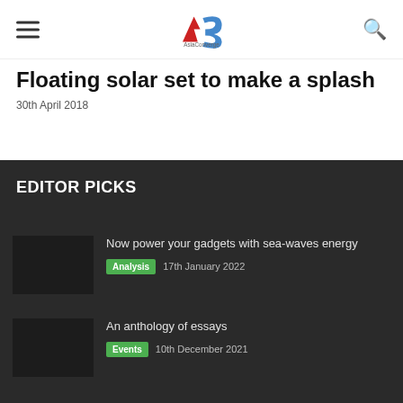AsiaConverge
Floating solar set to make a splash
30th April 2018
EDITOR PICKS
Now power your gadgets with sea-waves energy
Analysis   17th January 2022
An anthology of essays
Events   10th December 2021